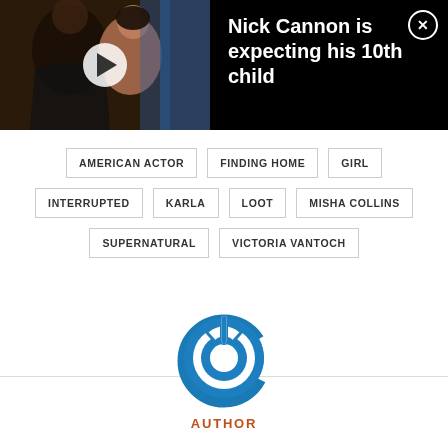[Figure (screenshot): Video thumbnail ad showing two people in close proximity against a dark background with a play button overlay. Right side shows headline 'Nick Cannon is expecting his 10th child' with an X close button on black background.]
Nick Cannon is expecting his 10th child
AMERICAN ACTOR
FINDING HOME
GIRL
INTERRUPTED
KARLA
LOOT
MISHA COLLINS
SUPERNATURAL
VICTORIA VANTOCH
[Figure (logo): Blue circular power button icon / logo]
AUTHOR